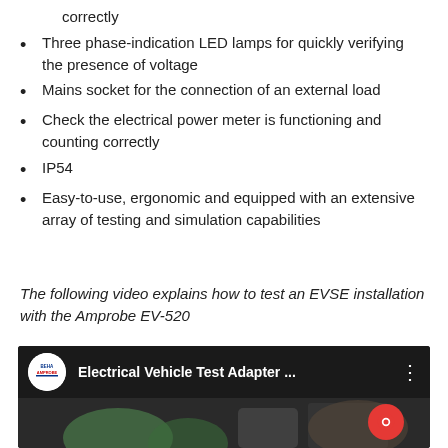correctly
Three phase-indication LED lamps for quickly verifying the presence of voltage
Mains socket for the connection of an external load
Check the electrical power meter is functioning and counting correctly
IP54
Easy-to-use, ergonomic and equipped with an extensive array of testing and simulation capabilities
The following video explains how to test an EVSE installation with the Amprobe EV-520
[Figure (screenshot): YouTube video thumbnail showing 'Electrical Vehicle Test Adapter ...' with BEHA AMPROBE logo and partial video content visible]